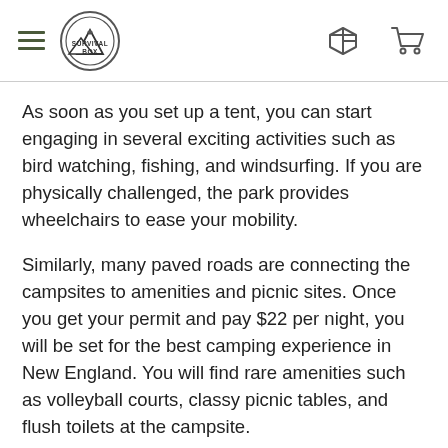Survival Box — navigation header with hamburger menu, logo, box icon, and cart icon
As soon as you set up a tent, you can start engaging in several exciting activities such as bird watching, fishing, and windsurfing. If you are physically challenged, the park provides wheelchairs to ease your mobility.
Similarly, many paved roads are connecting the campsites to amenities and picnic sites. Once you get your permit and pay $22 per night, you will be set for the best camping experience in New England. You will find rare amenities such as volleyball courts, classy picnic tables, and flush toilets at the campsite.
In some cases, you may even find a campsite with